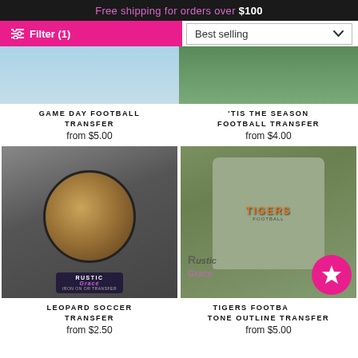Free shipping for orders over $100
Filter (1)
Best selling
GAME DAY FOOTBALL TRANSFER
from $5.00
'TIS THE SEASON FOOTBALL TRANSFER
from $4.00
[Figure (photo): Dark grey t-shirt with leopard print soccer ball graphic, shown with shoes and jeans, Rustic Grace logo watermark]
LEOPARD SOCCER TRANSFER
from $2.50
[Figure (photo): Grey t-shirt with orange Tigers Football graphic, shown on grass next to football, Rustic Grace logo watermark, pink star badge overlay]
TIGERS FOOTBALL TWO TONE OUTLINE TRANSFER
from $5.00